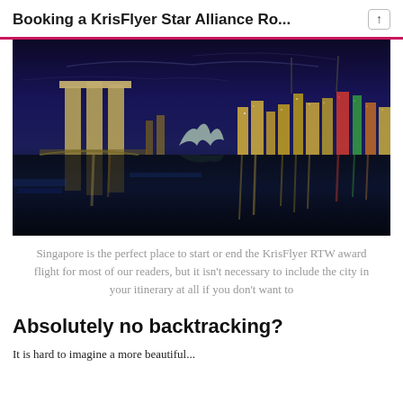Booking a KrisFlyer Star Alliance Ro...
[Figure (photo): Nighttime skyline of Singapore featuring Marina Bay Sands hotel and city lights reflecting on the water]
Singapore is the perfect place to start or end the KrisFlyer RTW award flight for most of our readers, but it isn't necessary to include the city in your itinerary at all if you don't want to
Absolutely no backtracking?
It is hard to imagine a more beautiful...